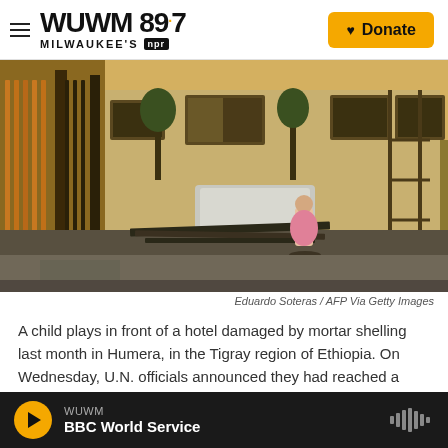WUWM 89.7 Milwaukee's NPR — Donate
[Figure (photo): A child plays in front of a hotel building damaged by mortar shelling in Humera, Tigray region of Ethiopia. The building facade shows damage, with debris and metal scattered on the street. A child in a pink dress stands in the middle of the street.]
Eduardo Soteras / AFP Via Getty Images
A child plays in front of a hotel damaged by mortar shelling last month in Humera, in the Tigray region of Ethiopia. On Wednesday, U.N. officials announced they had reached a deal with Ethiopian leaders to allow humanitarian groups access to the disputed region.
WUWM BBC World Service